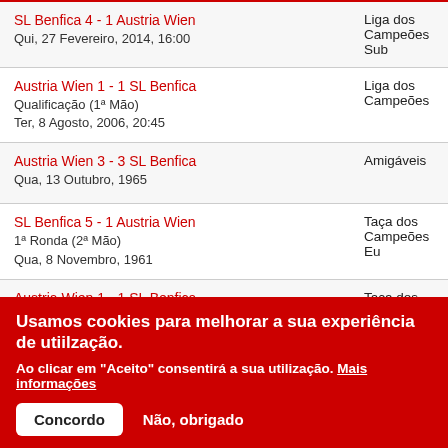SL Benfica 4 - 1 Austria Wien | Liga dos Campeões Sub | Qui, 27 Fevereiro, 2014, 16:00
Austria Wien 1 - 1 SL Benfica | Liga dos Campeões | Qualificação (1ª Mão) | Ter, 8 Agosto, 2006, 20:45
Austria Wien 3 - 3 SL Benfica | Amigáveis | Qua, 13 Outubro, 1965
SL Benfica 5 - 1 Austria Wien | Taça dos Campeões Eu | 1ª Ronda (2ª Mão) | Qua, 8 Novembro, 1961
Austria Wien 1 - 1 SL Benfica | Taça dos Campeões Eu | 1ª Ronda (1ª Mão)
Usamos cookies para melhorar a sua experiência de utiilzação.
Ao clicar em "Aceito" consentirá a sua utilização. Mais informações
Concordo | Não, obrigado